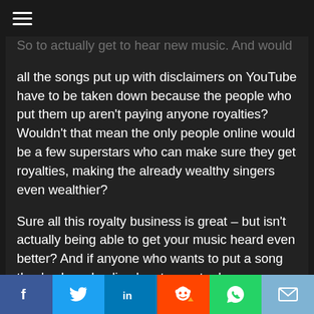≡
all the songs put up with disclaimers on YouTube have to be taken down because the people who put them up aren't paying anyone royalties? Wouldn't that mean the only people online would be a few superstars who can make sure they get royalties, making the already wealthy singers even wealthier?
Sure all this royalty business is great – but isn't actually being able to get your music heard even better? And if anyone who wants to put a song they've heard online has to pay to do so, wouldn't that just about kill the Internet as far as freedom goes? I guess in a muddle-headed way I'm worried
f  Twitter  in  Reddit  WhatsApp  Email